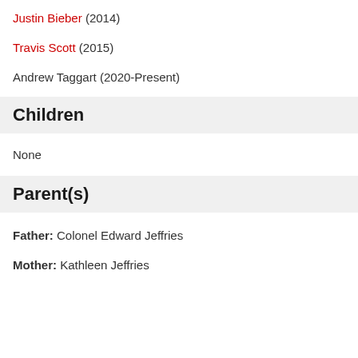Justin Bieber (2014)
Travis Scott (2015)
Andrew Taggart (2020-Present)
Children
None
Parent(s)
Father: Colonel Edward Jeffries
Mother: Kathleen Jeffries